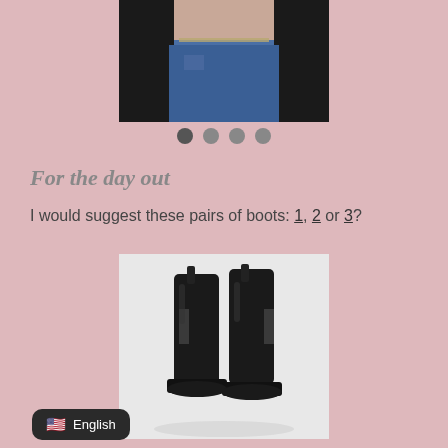[Figure (photo): Cropped photo of a person wearing a black blazer and blue jeans with a chain belt, photographed from waist/chest down]
[Figure (infographic): Four circular dot indicators, first dot is darker (active), remaining three are lighter gray]
For the day out
I would suggest these pairs of boots: 1, 2 or 3?
[Figure (photo): Close-up photo of black Chelsea boots with pull tabs, shown from a low angle against a white background]
English